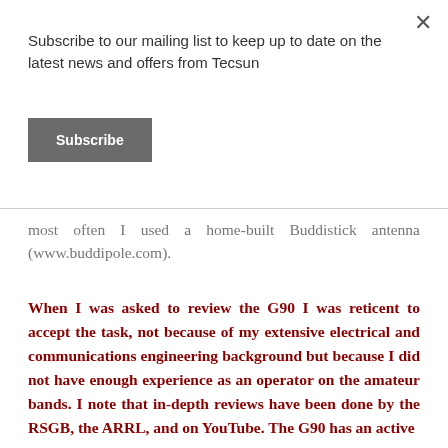Subscribe to our mailing list to keep up to date on the latest news and offers from Tecsun
Subscribe
most often I used a home-built Buddistick antenna (www.buddipole.com).
When I was asked to review the G90 I was reticent to accept the task, not because of my extensive electrical and communications engineering background but because I did not have enough experience as an operator on the amateur bands. I note that in-depth reviews have been done by the RSGB, the ARRL, and on YouTube. The G90 has an active